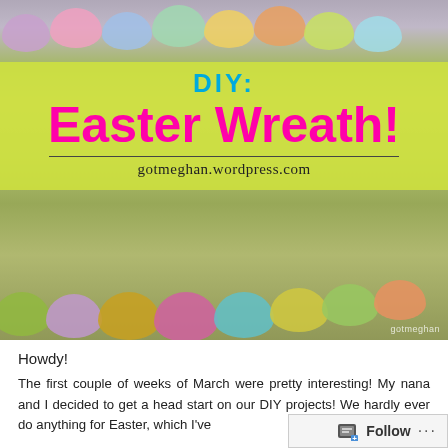[Figure (photo): Photo of colorful plastic Easter eggs arranged in a wreath shape on a white surface. The image has a yellow-green banner overlay with the text 'DIY: Easter Wreath!' in cyan and magenta, and the URL gotmeghan.wordpress.com.]
Howdy!
The first couple of weeks of March were pretty interesting! My nana and I decided to get a head start on our DIY projects! We hardly ever do anything for Easter, which I've